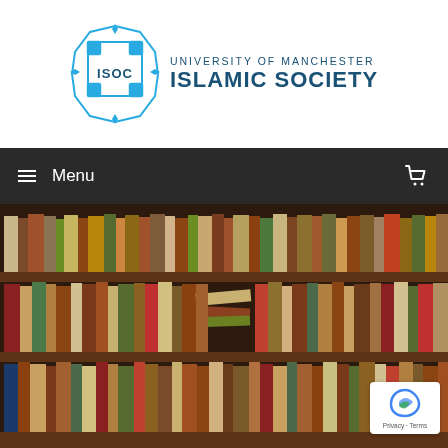[Figure (logo): University of Manchester Islamic Society logo with geometric blue/teal emblem and ISOC text, alongside text 'UNIVERSITY OF MANCHESTER ISLAMIC SOCIETY']
≡ Menu | (cart icon)
[Figure (photo): Photograph of a wooden bookshelf filled with rows of old books in various colors including red, brown, green, and beige spines]
Privacy · Terms